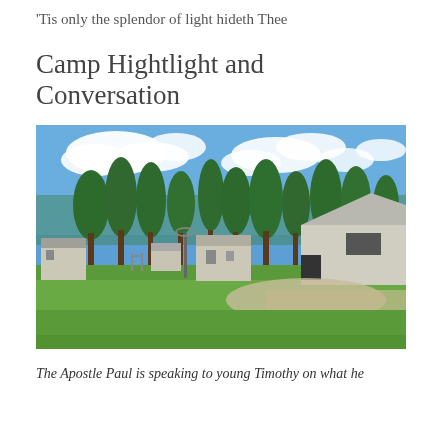‘Tis only the splendor of light hideth Thee
Camp Hightlight and Conversation
[Figure (photo): Outdoor photo of a camp facility with white/beige buildings, tall trees, green lawn, gravel driveway, and a bright blue sky with white clouds. A basketball hoop is visible in the background.]
The Apostle Paul is speaking to young Timothy on what he